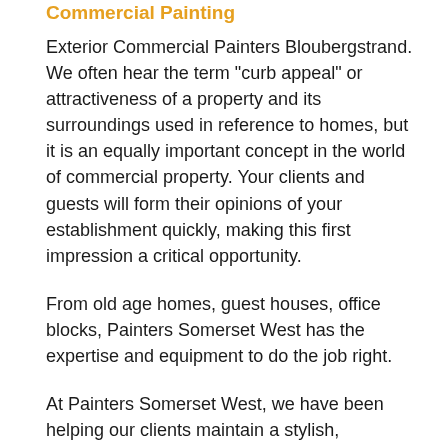Commercial Painting
Exterior Commercial Painters Bloubergstrand. We often hear the term “curb appeal” or attractiveness of a property and its surroundings used in reference to homes, but it is an equally important concept in the world of commercial property. Your clients and guests will form their opinions of your establishment quickly, making this first impression a critical opportunity.
From old age homes, guest houses, office blocks, Painters Somerset West has the expertise and equipment to do the job right.
At Painters Somerset West, we have been helping our clients maintain a stylish,